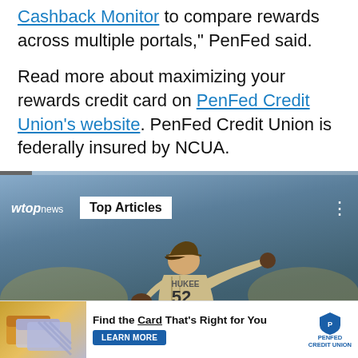Cashback Monitor to compare rewards across multiple portals," PenFed said.
Read more about maximizing your rewards credit card on PenFed Credit Union's website. PenFed Credit Union is federally insured by NCUA.
[Figure (photo): A baseball pitcher in a Milwaukee Brewers uniform (#52) mid-pitch, with a WTOP news Top Articles overlay and video player controls at the bottom.]
[Figure (infographic): Advertisement bar: Find the Card That's Right for You - PenFed Credit Union, with card images, Learn More button, and PenFed logo.]